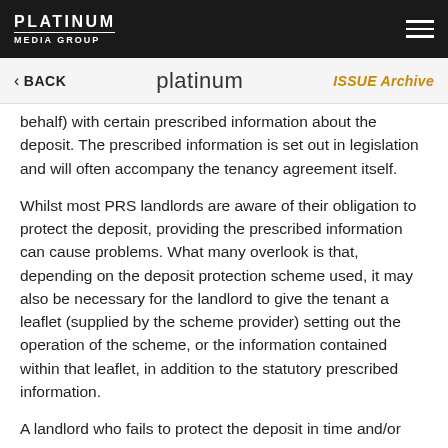PLATINUM MEDIA GROUP
BACK | platinum | ISSUE Archive
behalf) with certain prescribed information about the deposit. The prescribed information is set out in legislation and will often accompany the tenancy agreement itself.
Whilst most PRS landlords are aware of their obligation to protect the deposit, providing the prescribed information can cause problems. What many overlook is that, depending on the deposit protection scheme used, it may also be necessary for the landlord to give the tenant a leaflet (supplied by the scheme provider) setting out the operation of the scheme, or the information contained within that leaflet, in addition to the statutory prescribed information.
A landlord who fails to protect the deposit in time and/or